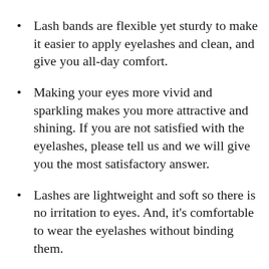Lash bands are flexible yet sturdy to make it easier to apply eyelashes and clean, and give you all-day comfort.
Making your eyes more vivid and sparkling makes you more attractive and shining. If you are not satisfied with the eyelashes, please tell us and we will give you the most satisfactory answer.
Lashes are lightweight and soft so there is no irritation to eyes. And, it's comfortable to wear the eyelashes without binding them.